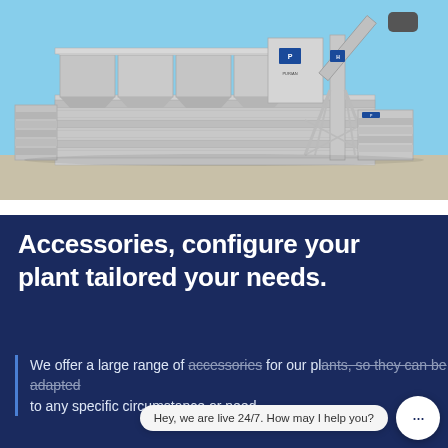[Figure (photo): Industrial concrete batching plant / mixing machine with blue sky background. White steel structure with hoppers on the left and a tall conveyor/elevator tower on the right.]
Accessories, configure your plant tailored your needs.
We offer a large range of accessories for our plants, so they can be adapted to any specific circumstance or need